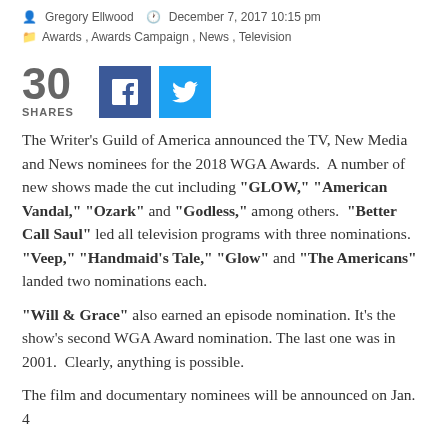Gregory Ellwood  December 7, 2017 10:15 pm
Awards, Awards Campaign, News, Television
[Figure (infographic): Share count showing 30 SHARES with Facebook and Twitter buttons]
The Writer's Guild of America announced the TV, New Media and News nominees for the 2018 WGA Awards.  A number of new shows made the cut including "GLOW," "American Vandal," "Ozark" and "Godless," among others.  "Better Call Saul" led all television programs with three nominations. "Veep," "Handmaid's Tale," "Glow" and "The Americans" landed two nominations each.
"Will & Grace" also earned an episode nomination. It's the show's second WGA Award nomination. The last one was in 2001.  Clearly, anything is possible.
The film and documentary nominees will be announced on Jan. 4
The awards will be held on Sunday, Feb. 11 in concurrent ceremonies in New York and Los Angeles.